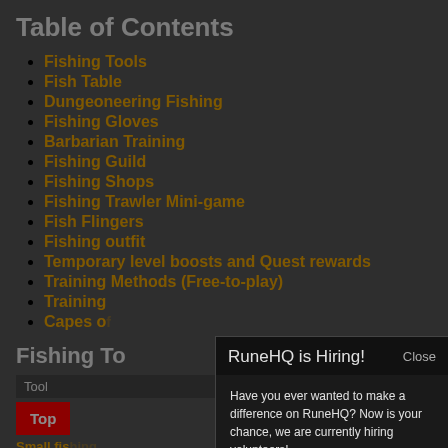Table of Contents
Fishing Tools
Fish Table
Dungeoneering Fishing
Fishing Gloves
Barbarian Training
Fishing Guild
Fishing Shops
Fishing Trawler Mini-game
Fish Flingers
Fishing outfit
Temporary level boosts and Quest rewards
Training Methods (Free-to-play)
Training
Capes of
Fishing To
| Tool | ot |
| --- | --- |
Top
Small fishing
[Figure (screenshot): Modal dialog overlaying the page. Header: 'RuneHQ is Hiring!' with 'Close' button. Body text: 'Have you ever wanted to make a difference on RuneHQ? Now is your chance, we are currently hiring volunteers! For more information about staff roles and responsibilities see this area. Once you are ready (and signed into the forums), you can find open applications on the navigation bar at the top of the forums.']